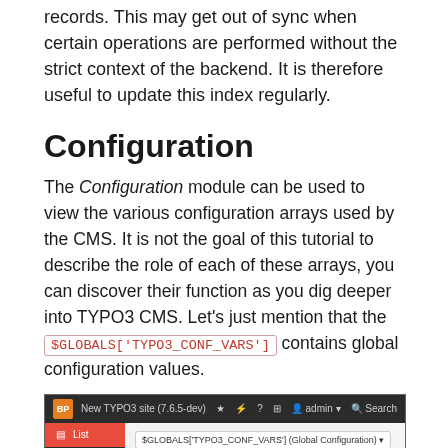records. This may get out of sync when certain operations are performed without the strict context of the backend. It is therefore useful to update this index regularly.
Configuration
The Configuration module can be used to view the various configuration arrays used by the CMS. It is not the goal of this tutorial to describe the role of each of these arrays, you can discover their function as you dig deeper into TYPO3 CMS. Let's just mention that the $GLOBALS['TYPO3_CONF_VARS'] contains global configuration values.
[Figure (screenshot): TYPO3 CMS backend screenshot showing the Configuration module with $GLOBALS['TYPO3_CONF_VARS'] (Global Configuration) selected in dropdown, sidebar with List, Info, Functions, Template menu items]